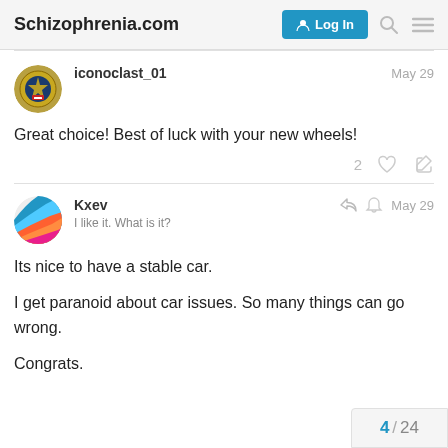Schizophrenia.com
iconoclast_01 — May 29
Great choice! Best of luck with your new wheels!
Kxev — I like it. What is it? — May 29
Its nice to have a stable car.

I get paranoid about car issues. So many things can go wrong.

Congrats.
4 / 24